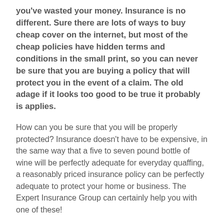you've wasted your money. Insurance is no different. Sure there are lots of ways to buy cheap cover on the internet, but most of the cheap policies have hidden terms and conditions in the small print, so you can never be sure that you are buying a policy that will protect you in the event of a claim. The old adage if it looks too good to be true it probably is applies.
How can you be sure that you will be properly protected? Insurance doesn't have to be expensive, in the same way that a five to seven pound bottle of wine will be perfectly adequate for everyday quaffing, a reasonably priced insurance policy can be perfectly adequate to protect your home or business. The Expert Insurance Group can certainly help you with one of these!